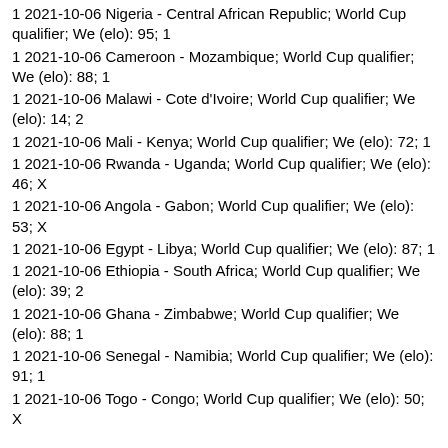1 2021-10-06 Nigeria - Central African Republic; World Cup qualifier; We (elo): 95; 1
1 2021-10-06 Cameroon - Mozambique; World Cup qualifier; We (elo): 88; 1
1 2021-10-06 Malawi - Cote d'Ivoire; World Cup qualifier; We (elo): 14; 2
1 2021-10-06 Mali - Kenya; World Cup qualifier; We (elo): 72; 1
1 2021-10-06 Rwanda - Uganda; World Cup qualifier; We (elo): 46; X
1 2021-10-06 Angola - Gabon; World Cup qualifier; We (elo): 53; X
1 2021-10-06 Egypt - Libya; World Cup qualifier; We (elo): 87; 1
1 2021-10-06 Ethiopia - South Africa; World Cup qualifier; We (elo): 39; 2
1 2021-10-06 Ghana - Zimbabwe; World Cup qualifier; We (elo): 88; 1
1 2021-10-06 Senegal - Namibia; World Cup qualifier; We (elo): 91; 1
1 2021-10-06 Togo - Congo; World Cup qualifier; We (elo): 50; X